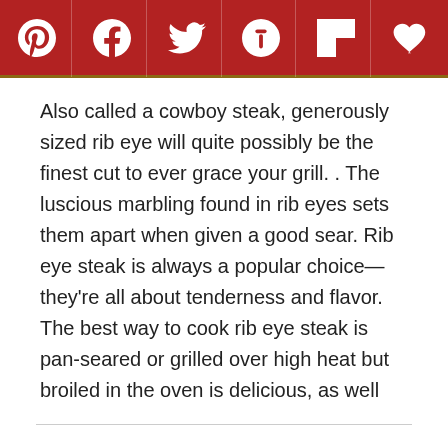[Figure (other): Social sharing toolbar with icons for Pinterest, Facebook, Twitter, Yummly, Flipboard, and a heart/save button on a dark red background]
Also called a cowboy steak, generously sized rib eye will quite possibly be the finest cut to ever grace your grill. . The luscious marbling found in rib eyes sets them apart when given a good sear. Rib eye steak is always a popular choice—they're all about tenderness and flavor. The best way to cook rib eye steak is pan-seared or grilled over high heat but broiled in the oven is delicious, as well